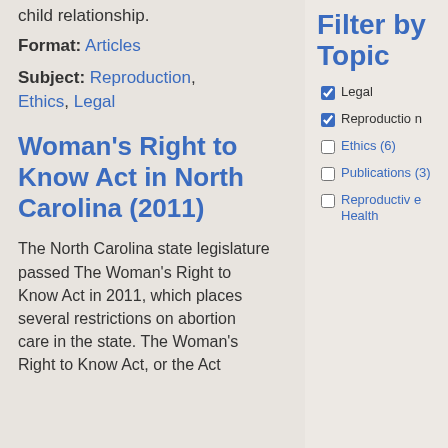child relationship.
Format: Articles
Subject: Reproduction, Ethics, Legal
Woman's Right to Know Act in North Carolina (2011)
The North Carolina state legislature passed The Woman's Right to Know Act in 2011, which places several restrictions on abortion care in the state. The Woman's Right to Know Act, or the Act
Filter by Topic
Legal (checked)
Reproduction (checked)
Ethics (6) (unchecked)
Publications (3) (unchecked)
Reproductive Health (unchecked)